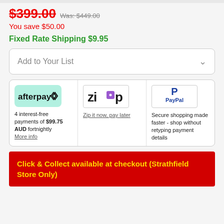$399.00 Was: $449.00
You save $50.00
Fixed Rate Shipping $9.95
Add to Your List
[Figure (logo): Afterpay logo on green background]
4 interest-free payments of $99.75 AUD fortnightly More info
[Figure (logo): Zip logo]
Zip it now, pay later
[Figure (logo): PayPal logo]
Secure shopping made faster - shop without retyping payment details
Click & Collect available at checkout (Strathfield Store Only)